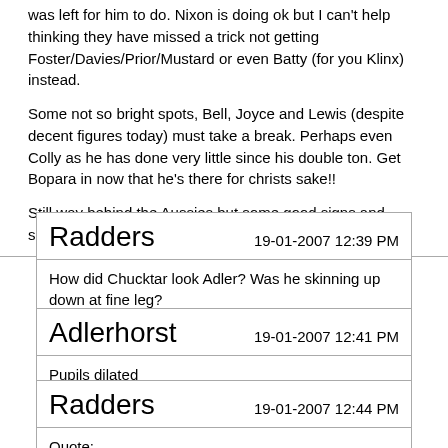was left for him to do. Nixon is doing ok but I can't help thinking they have missed a trick not getting Foster/Davies/Prior/Mustard or even Batty (for you Klinx) instead.

Some not so bright spots, Bell, Joyce and Lewis (despite decent figures today) must take a break. Perhaps even Colly as he has done very little since his double ton. Get Bopara in now that he's there for christs sake!!

Still way behind the Aussies but some good signs and some fight at last.
Radders
19-01-2007 12:39 PM
How did Chucktar look Adler? Was he skinning up down at fine leg?
Adlerhorst
19-01-2007 12:41 PM
Pupils dilated
Radders
19-01-2007 12:44 PM
Quote: